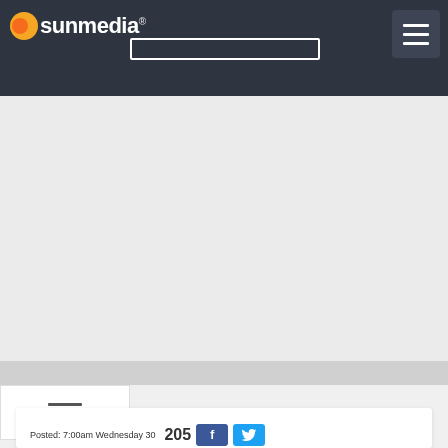sunmedia
[Figure (screenshot): Gray advertisement or content placeholder block]
[Figure (screenshot): Hamburger/menu icon button in sidebar]
[Figure (screenshot): White article card with Posted: 7:00am Wednesday 30, share count 205, Facebook and Twitter share buttons]